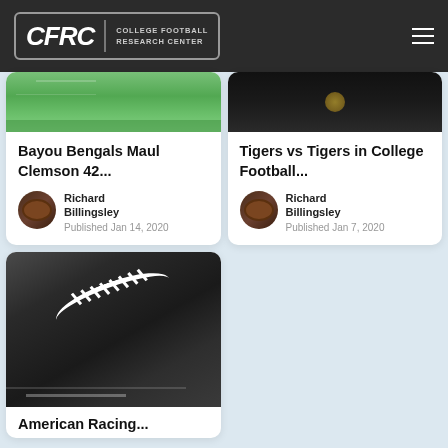CFRC COLLEGE FOOTBALL RESEARCH CENTER
[Figure (photo): Grass field photo (top of card 1)]
Bayou Bengals Maul Clemson 42...
Richard Billingsley
Published Jan 14, 2020
[Figure (photo): Trophy photo dark background (top of card 2)]
Tigers vs Tigers in College Football...
Richard Billingsley
Published Jan 7, 2020
[Figure (photo): Black and white close-up of football on field]
American Racing...